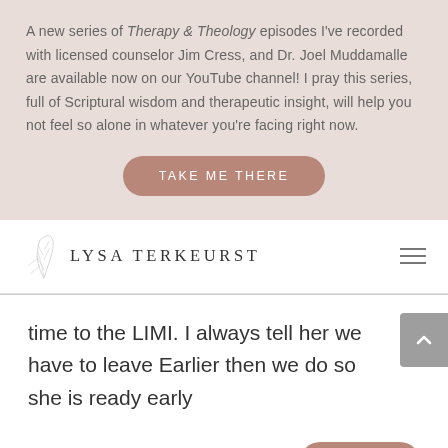A new series of Therapy & Theology episodes I've recorded with licensed counselor Jim Cress, and Dr. Joel Muddamalle are available now on our YouTube channel! I pray this series, full of Scriptural wisdom and therapeutic insight, will help you not feel so alone in whatever you're facing right now.
TAKE ME THERE
[Figure (logo): Lysa TerKeurst logo with botanical leaf illustration]
time to the LIMI. I always tell her we have to leave Earlier then we do so she is ready early
REPLY